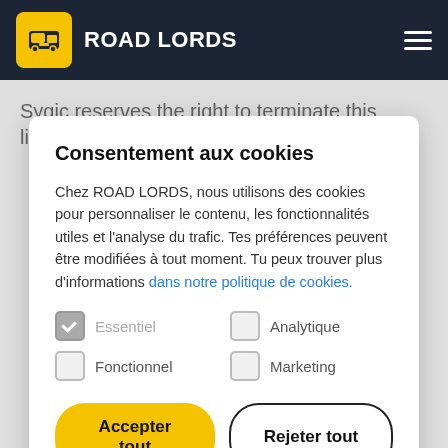ROAD LORDS
Sygic reserves the right to terminate this licence
Consentement aux cookies
Chez ROAD LORDS, nous utilisons des cookies pour personnaliser le contenu, les fonctionnalités utiles et l'analyse du trafic. Tes préférences peuvent être modifiées à tout moment. Tu peux trouver plus d'informations dans notre politique de cookies.
Essentiel (checked)
Analytique
Fonctionnel
Marketing
Accepter tout | Rejeter tout